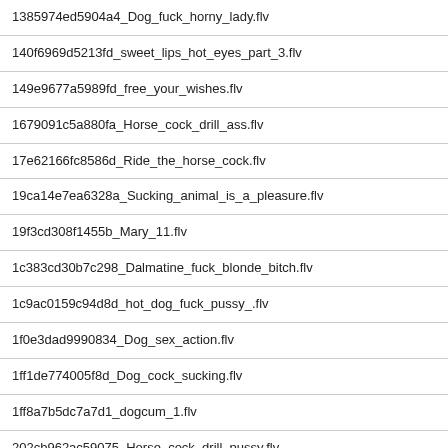1385974ed5904a4_Dog_fuck_horny_lady.flv
140f6969d5213fd_sweet_lips_hot_eyes_part_3.flv
149e9677a5989fd_free_your_wishes.flv
1679091c5a880fa_Horse_cock_drill_ass.flv
17e62166fc8586d_Ride_the_horse_cock.flv
19ca14e7ea6328a_Sucking_animal_is_a_pleasure.flv
19f3cd308f1455b_Mary_11.flv
1c383cd30b7c298_Dalmatine_fuck_blonde_bitch.flv
1c9ac0159c94d8d_hot_dog_fuck_pussy_.flv
1f0e3dad9990834_Dog_sex_action.flv
1ff1de774005f8d_Dog_cock_sucking.flv
1ff8a7b5dc7a7d1_dogcum_1.flv
202cb962ac59075_Horse_cock_drill_pussy.flv